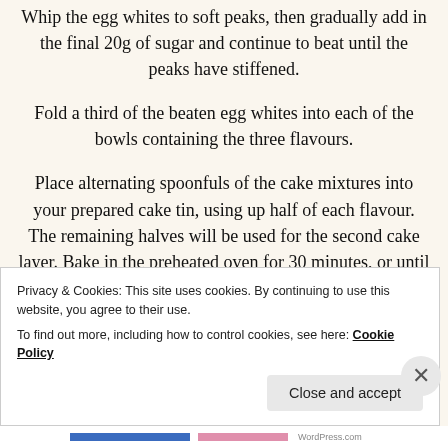Whip the egg whites to soft peaks, then gradually add in the final 20g of sugar and continue to beat until the peaks have stiffened.
Fold a third of the beaten egg whites into each of the bowls containing the three flavours.
Place alternating spoonfuls of the cake mixtures into your prepared cake tin, using up half of each flavour. The remaining halves will be used for the second cake layer. Bake in the preheated oven for 30 minutes, or until cake skewer comes out clean. (For cupcakes, bake for 15-20 minutes).
Privacy & Cookies: This site uses cookies. By continuing to use this website, you agree to their use.
To find out more, including how to control cookies, see here: Cookie Policy
Close and accept